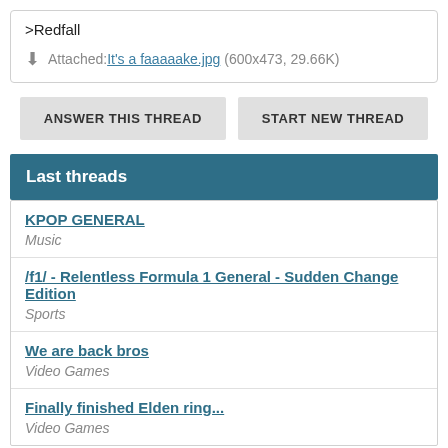>Redfall
Attached: It's a faaaaake.jpg (600x473, 29.66K)
ANSWER THIS THREAD
START NEW THREAD
Last threads
KPOP GENERAL
Music
/f1/ - Relentless Formula 1 General - Sudden Change Edition
Sports
We are back bros
Video Games
Finally finished Elden ring...
Video Games